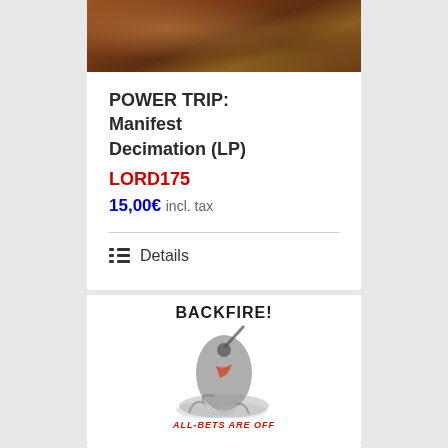[Figure (illustration): Album cover art for Power Trip: Manifest Decimation, dark brownish-orange tones with figures]
POWER TRIP: Manifest Decimation (LP)
LORD175
15,00€ incl. tax
Details
[Figure (illustration): Album cover art for Backfire!: All Bets Are Off, showing a figure with dark smoky background and red text]
BACKFIRE!: All Bets Are Off